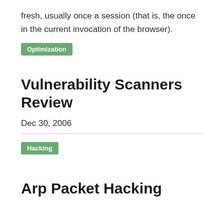fresh, usually once a session (that is, the once in the current invocation of the browser).
Optimization
Vulnerability Scanners Review
Dec 30, 2006
Hacking
Arp Packet Hacking